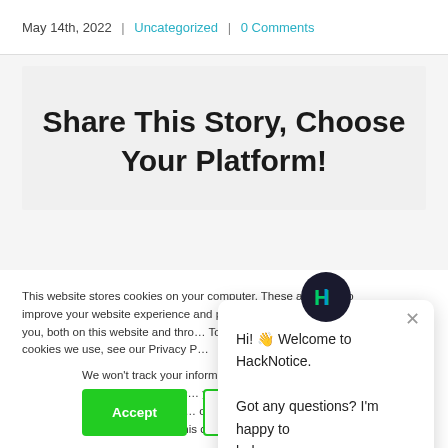May 14th, 2022 | Uncategorized | 0 Comments
Share This Story, Choose Your Platform!
This website stores cookies on your computer. These are used to improve your website experience and provide more personalized services to you, both on this website and through other media. To find out more about the cookies we use, see our Privacy P...
We won't track your information when you visit our site. But in order to comply with your preferences, we'll have to use just one tiny cookie so that you're not asked to make this choice again.
[Figure (screenshot): HackNotice chat popup with avatar showing H logo, close button, and message: Hi! Welcome to HackNotice. Got any questions? I'm happy to help.]
Hi! 👋 Welcome to HackNotice. Got any questions? I'm happy to help.